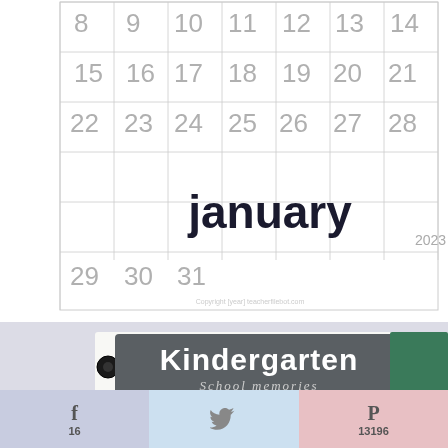[Figure (photo): January 2023 wall calendar showing dates 8-31 with grid layout. Month name 'january' in large bold lowercase text with '2023' in small gray text.]
[Figure (photo): Kindergarten school memories scrapbook page in a spiral/disc-bound notebook. Shows a school photo of a young blonde boy in a purple shirt. Page has gray header banner reading 'Kindergarten School memories'. Fields filled in: YEAR: 2009-2010, SCHOOL: Hoosier Road Elementary, TEACHER: Mrs. Wright. NAME badge (blue): Jeffry Charles. FRIENDS badge (pink): Ryan W, Cole B, Elizabeth M, TyJ. SPORTS/ACTIVITIES badge (gold): T-Ball, School Art Club. Orange crayon visible on left side. Green textbook visible on right.]
[Figure (infographic): Social sharing bar with three sections: Facebook (light purple/blue) showing 'f' icon and count '16', Twitter/bird (light blue) showing bird icon, Pinterest (light pink/rose) showing 'P' icon and count '13196'.]